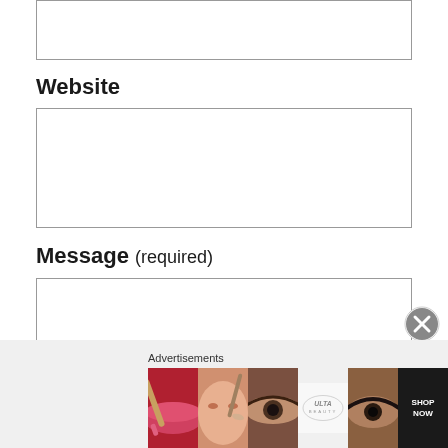Website
Message (required)
[Figure (other): Close/dismiss button (circled X icon)]
Advertisements
[Figure (other): ULTA Beauty advertisement banner showing makeup images and SHOP NOW call to action]